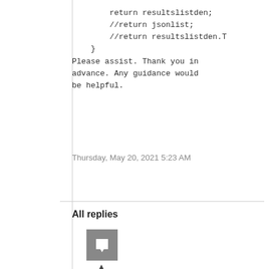return resultslistden;
//return jsonlist;
//return resultslistden.T
    }
Please assist. Thank you in advance. Any guidance would be helpful.
Thursday, May 20, 2021 5:23 AM
All replies
[Figure (illustration): Gray square avatar icon with a white speech bubble/corner fold symbol inside]
0
Sign